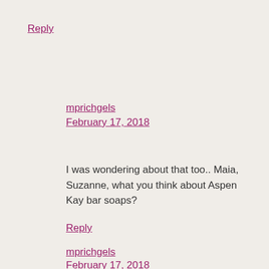Reply
mprichgels
February 17, 2018
I was wondering about that too.. Maia, Suzanne, what you think about Aspen Kay bar soaps?
Reply
mprichgels
February 17, 2018